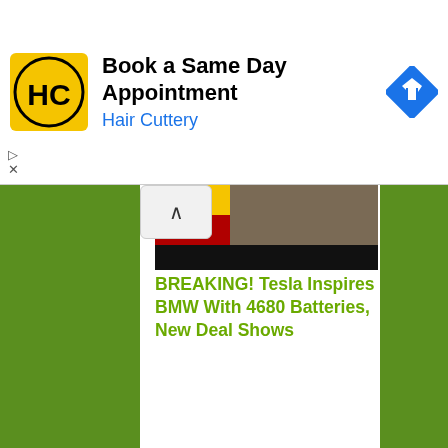[Figure (screenshot): Hair Cuttery ad banner with logo, 'Book a Same Day Appointment' headline, 'Hair Cuttery' subtext, and a blue navigation arrow icon]
[Figure (photo): Partial newspaper/sign image strip with yellow, red, and dark/textured background areas]
BREAKING! Tesla Inspires BMW With 4680 Batteries, New Deal Shows